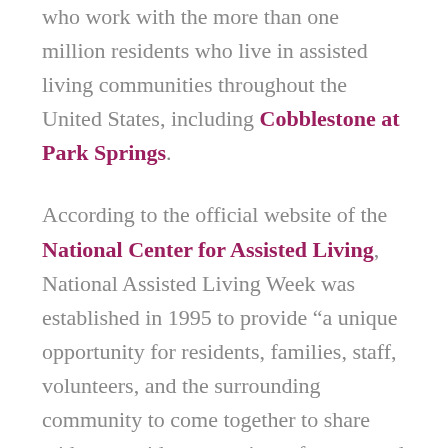who work with the more than one million residents who live in assisted living communities throughout the United States, including Cobblestone at Park Springs.
According to the official website of the National Center for Assisted Living, National Assisted Living Week was established in 1995 to provide “a unique opportunity for residents, families, staff, volunteers, and the surrounding community to come together to share with our residents a variety of events and activities that show them how much we care for them.”